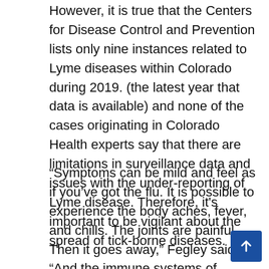However, it is true that the Centers for Disease Control and Prevention lists only nine instances related to Lyme diseases within Colorado during 2019. (the latest year that data is available) and none of the cases originating in Colorado Health experts say that there are limitations in surveillance data and issues with the under-reporting of Lyme disease. Therefore, it's important to be vigilant about the spread of tick-borne diseases.
“Symptoms can be mild and feel as if you’ve got the flu. It is possible to experience the body aches, fever, and chills. The joints are painful. Then it goes away,” Fegley said. “And the immune systems of people differ. A person could be extremely sick, whereas another could appear to be suffering from some illness over a few days.”